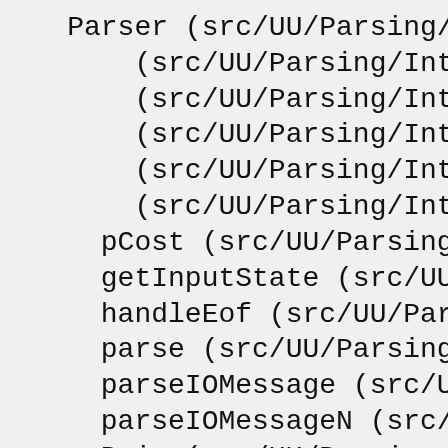Parser (src/UU/Parsing/Interface.
    (src/UU/Parsing/Interface.hs:145
    (src/UU/Parsing/Interface.hs:155
    (src/UU/Parsing/Interface.hs:161
    (src/UU/Parsing/Interface.hs:165
    (src/UU/Parsing/Interface.hs:173
  pCost (src/UU/Parsing/Interface.h
  getInputState (src/UU/Parsing/Int
  handleEof (src/UU/Parsing/Interfa
  parse (src/UU/Parsing/Interface.h
  parseIOMessage (src/UU/Parsing/In
  parseIOMessageN (src/UU/Parsing/I
  Pair (src/UU/Parsing/Interface.hs
  evalStepsIO (src/UU/Parsing/Inter
  evalStepsIO' (src/UU/Parsing/Inte
24% ( 13 / 54) in 'UU.Parsing.Deriv
Missing documentation for:
   Module header
   mnz (src/UU/Parsing/Derived.hs:63